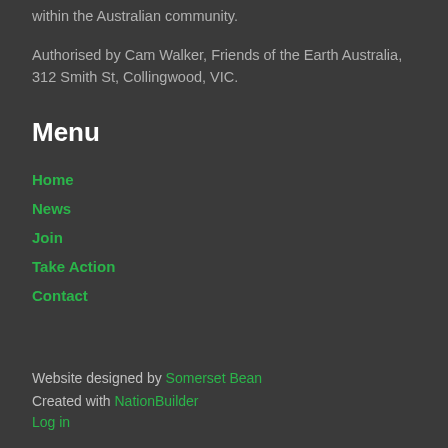within the Australian community.
Authorised by Cam Walker, Friends of the Earth Australia, 312 Smith St, Collingwood, VIC.
Menu
Home
News
Join
Take Action
Contact
Website designed by Somerset Bean
Created with NationBuilder
Log in